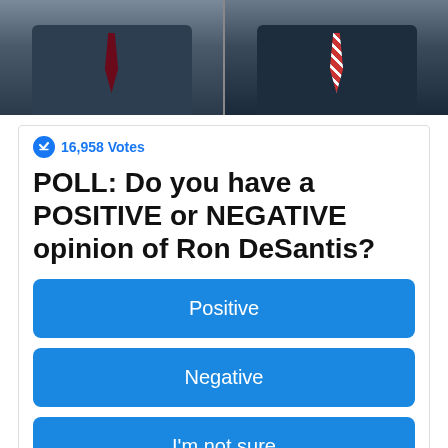[Figure (photo): Two men in dark suits side by side: left figure wears a dark burgundy tie, right figure wears a red and white striped tie near a microphone]
16,958 Votes
POLL: Do you have a POSITIVE or NEGATIVE opinion of Ron DeSantis?
Positive
Negative
I'm not sure
Sponsored Ad
“I remain deeply frustrated that the administration still can’t confirm what assistance programs have been